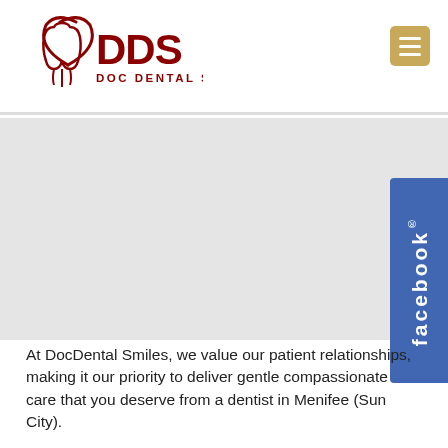[Figure (logo): DDS Doc Dental Smiles logo with tooth icon in dark red/maroon]
[Figure (other): Hamburger menu button in gold/tan color]
[Figure (other): Gray banner/hero image area]
[Figure (other): Facebook side tab in blue with vertical 'facebook' text]
At DocDental Smiles, we value our patient relationships, making it our priority to deliver gentle compassionate care that you deserve from a dentist in Menifee (Sun City).
We work hard to make you feel at ease by providing exceptional patient care in a relaxed, convenient atmosphere.
We strive to develop lifelong relationships with our patients by